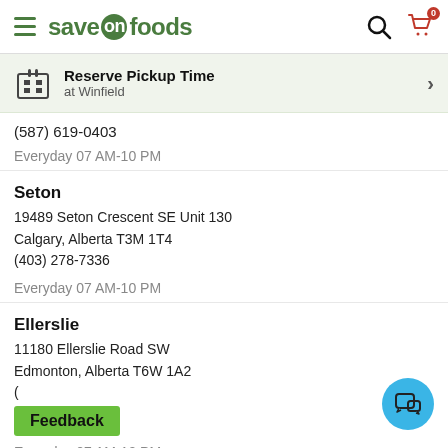Save On Foods – Store Finder
(587) 619-0403
Everyday 07 AM-10 PM
Seton
19489 Seton Crescent SE Unit 130
Calgary, Alberta T3M 1T4
(403) 278-7336
Everyday 07 AM-10 PM
Ellerslie
11180 Ellerslie Road SW
Edmonton, Alberta T6W 1A2
Everyday 07 AM-10 PM